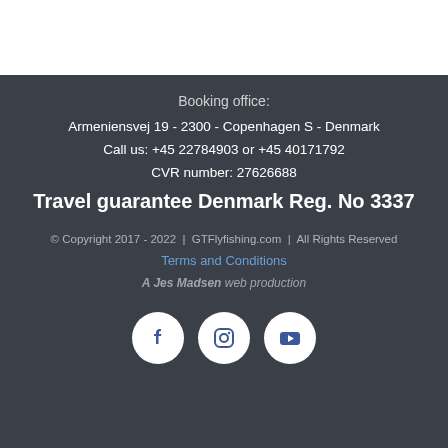Booking office:
Armeniensvej 19 - 2300 - Copenhagen S - Denmark
Call us: +45 22784903 or +45 40171792
CVR number: 27626688
Travel guarantee Denmark Reg. No 3337
© Copyright 2017 - 2022  |  GTFlyfishing.com  |  All Rights Reserved
Terms and Conditions
A Jes Madsen web production
[Figure (other): Social media icons: Facebook, Instagram, YouTube in white circles on dark background]